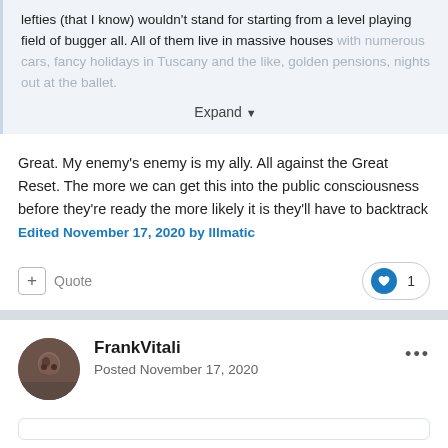lefties (that I know) wouldn't stand for starting from a level playing field of bugger all. All of them live in massive houses with numerous cars, fancy holidays in Tuscany and the like, golden pensions, nights out at the ballet.
Expand
Great. My enemy's enemy is my ally. All against the Great Reset. The more we can get this into the public consciousness before they're ready the more likely it is they'll have to backtrack
Edited November 17, 2020 by Illmatic
+ Quote
1
FrankVitali
Posted November 17, 2020